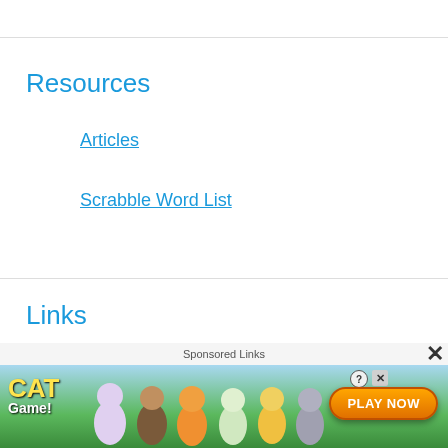Resources
Articles
Scrabble Word List
Links
Scrabble word finder
[Figure (illustration): Sponsored advertisement banner for Cat Game mobile app with animated cat characters and a Play Now button]